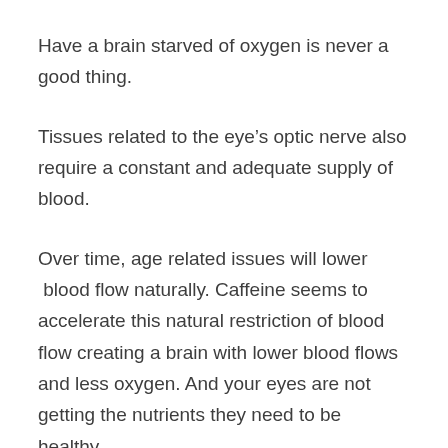Have a brain starved of oxygen is never a good thing.
Tissues related to the eye’s optic nerve also require a constant and adequate supply of blood.
Over time, age related issues will lower  blood flow naturally. Caffeine seems to accelerate this natural restriction of blood flow creating a brain with lower blood flows and less oxygen. And your eyes are not getting the nutrients they need to be healthy.